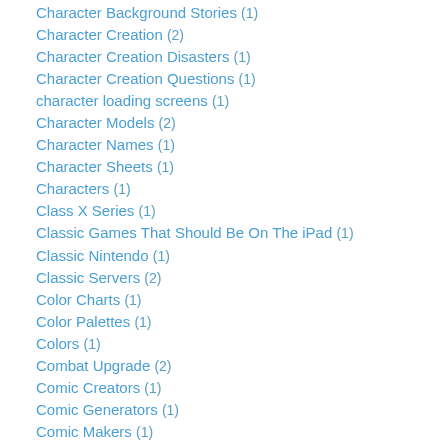Character Background Stories (1)
Character Creation (2)
Character Creation Disasters (1)
Character Creation Questions (1)
character loading screens (1)
Character Models (2)
Character Names (1)
Character Sheets (1)
Characters (1)
Class X Series (1)
Classic Games That Should Be On The iPad (1)
Classic Nintendo (1)
Classic Servers (2)
Color Charts (1)
Color Palettes (1)
Colors (1)
Combat Upgrade (2)
Comic Creators (1)
Comic Generators (1)
Comic Makers (1)